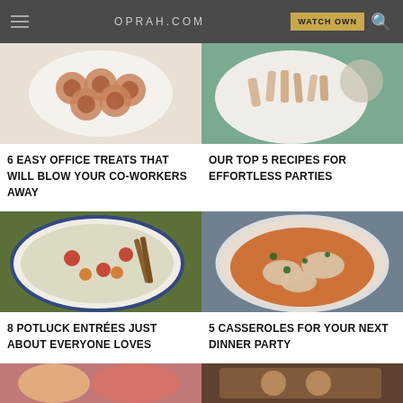OPRAH.COM | WATCH OWN
[Figure (photo): Plate of spiral pastry treats (cinnamon rolls / pinwheels) on a white plate, top-down view]
[Figure (photo): Bowl of pasta (rigatoni) with herbs and spoon on a blue cloth, top-down view]
6 EASY OFFICE TREATS THAT WILL BLOW YOUR CO-WORKERS AWAY
OUR TOP 5 RECIPES FOR EFFORTLESS PARTIES
[Figure (photo): Large bowl of pasta salad with tortellini, tomatoes, avocado and greens with fork, top-down view]
[Figure (photo): Casserole dish with baked chicken legs in tomato herb sauce garnished with parsley, top-down view]
8 POTLUCK ENTRÉES JUST ABOUT EVERYONE LOVES
5 CASSEROLES FOR YOUR NEXT DINNER PARTY
[Figure (photo): Partial view of colorful food items (left bottom, partially cropped)]
[Figure (photo): Partial view of dark food dish (right bottom, partially cropped)]